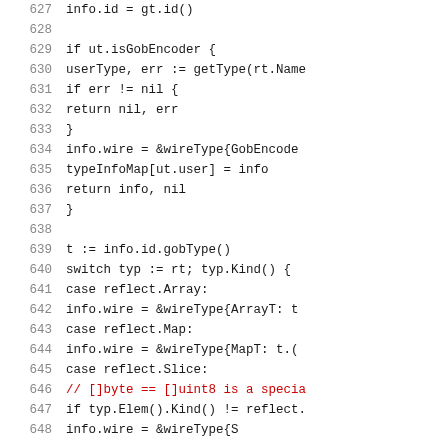Code listing lines 627-648, Go source code showing type registration logic with switch/case on reflect kinds
627    info.id = gt.id()
628    (blank)
629        if ut.isGobEncoder {
630                userType, err := getType(rt.Name
631                if err != nil {
632                        return nil, err
633                }
634                info.wire = &wireType{GobEncode
635                typeInfoMap[ut.user] = info
636                return info, nil
637        }
638    (blank)
639        t := info.id.gobType()
640        switch typ := rt; typ.Kind() {
641        case reflect.Array:
642                info.wire = &wireType{ArrayT: t
643        case reflect.Map:
644                info.wire = &wireType{MapT: t.(
645        case reflect.Slice:
646                // []byte == []uint8 is a specia
647                if typ.Elem().Kind() != reflect.
648                        info.wire = &wireType{S